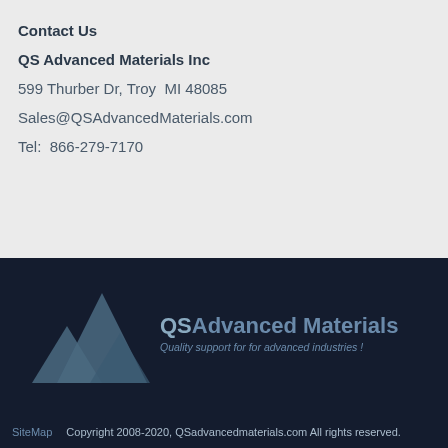Contact Us
QS Advanced Materials Inc
599 Thurber Dr, Troy  MI 48085
Sales@QSAdvancedMaterials.com
Tel:  866-279-7170
[Figure (logo): QS Advanced Materials logo with three mountain triangles and company name with tagline 'Quality support for for advanced industries!']
SiteMap    Copyright 2008-2020, QSadvancedmaterials.com All rights reserved.